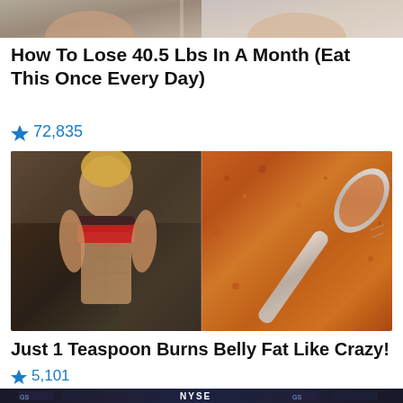[Figure (photo): Cropped top portion of two people in a fitness/health related image]
How To Lose 40.5 Lbs In A Month (Eat This Once Every Day)
🔥 72,835
[Figure (photo): Split image: left side shows a fit blonde woman in gym wear showing abs, right side shows a measuring spoon with red/orange spice powder]
Just 1 Teaspoon Burns Belly Fat Like Crazy!
🔥 5,101
[Figure (photo): NYSE stock exchange trading floor with electronic displays showing NYSE sign and financial data]